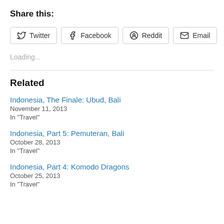Share this:
Twitter | Facebook | Reddit | Email
Loading...
Related
Indonesia, The Finale: Ubud, Bali
November 11, 2013
In "Travel"
Indonesia, Part 5: Pemuteran, Bali
October 28, 2013
In "Travel"
Indonesia, Part 4: Komodo Dragons
October 25, 2013
In "Travel"